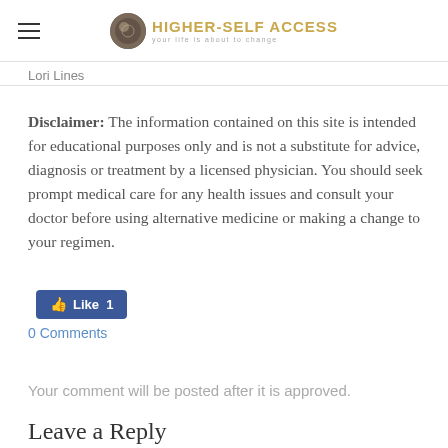HIGHER-SELF ACCESS — your life is about to change
Lori Lines
Disclaimer: The information contained on this site is intended for educational purposes only and is not a substitute for advice, diagnosis or treatment by a licensed physician. You should seek prompt medical care for any health issues and consult your doctor before using alternative medicine or making a change to your regimen.
[Figure (other): Facebook Like button showing thumbs up icon and Like 1 count]
0 Comments
Your comment will be posted after it is approved.
Leave a Reply